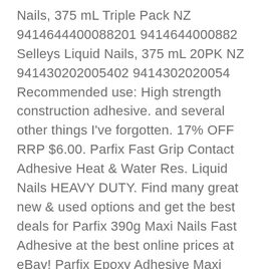Nails, 375 mL Triple Pack NZ 9414644000882019414644000882 Selleys Liquid Nails, 375 mL 20PK NZ 9414302020054029414302020054 Recommended use: High strength construction adhesive. and several other things I've forgotten. 17% OFF RRP $6.00. Parfix Fast Grip Contact Adhesive Heat & Water Res. Liquid Nails HEAVY DUTY. Find many great new & used options and get the best deals for Parfix 390g Maxi Nails Fast Adhesive at the best online prices at eBay! Parfix Epoxy Adhesive Maxi Strength Rigid Bond 24m. Returns policy. Fullers is also great product and inexpensive. o Material: Construction adhesive. Adam . Find nail ads in our Building Materials category from Melbourne Region, VIC. IDENTIFICATION OF THE MATERIAL AND SUPPLIER Product Name: 889-LINE DULUX QUICK DRY